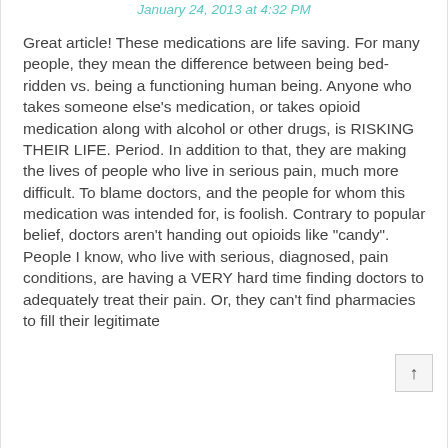January 24, 2013 at 4:32 PM
Great article! These medications are life saving. For many people, they mean the difference between being bed-ridden vs. being a functioning human being. Anyone who takes someone else's medication, or takes opioid medication along with alcohol or other drugs, is RISKING THEIR LIFE. Period. In addition to that, they are making the lives of people who live in serious pain, much more difficult. To blame doctors, and the people for whom this medication was intended for, is foolish. Contrary to popular belief, doctors aren't handing out opioids like "candy". People I know, who live with serious, diagnosed, pain conditions, are having a VERY hard time finding doctors to adequately treat their pain. Or, they can't find pharmacies to fill their legitimate